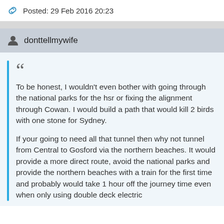Posted: 29 Feb 2016 20:23
donttellmywife
To be honest, I wouldn't even bother with going through the national parks for the hsr or fixing the alignment through Cowan. I would build a path that would kill 2 birds with one stone for Sydney.

If your going to need all that tunnel then why not tunnel from Central to Gosford via the northern beaches. It would provide a more direct route, avoid the national parks and provide the northern beaches with a train for the first time and probably would take 1 hour off the journey time even when only using double deck electric